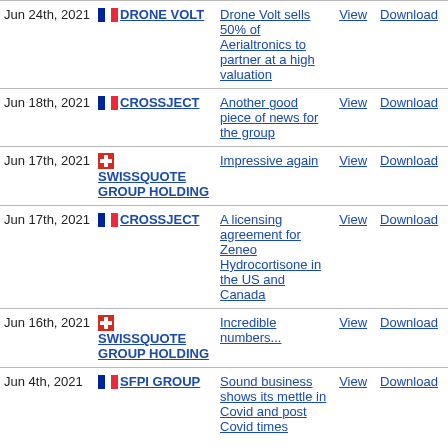| Date | Company | Title | View | Download |
| --- | --- | --- | --- | --- |
| Jun 24th, 2021 | DRONE VOLT | Drone Volt sells 50% of Aerialtronics to partner at a high valuation | View | Download |
| Jun 18th, 2021 | CROSSJECT | Another good piece of news for the group | View | Download |
| Jun 17th, 2021 | SWISSQUOTE GROUP HOLDING | Impressive again | View | Download |
| Jun 17th, 2021 | CROSSJECT | A licensing agreement for Zeneo Hydrocortisone in the US and Canada | View | Download |
| Jun 16th, 2021 | SWISSQUOTE GROUP HOLDING | Incredible numbers... | View | Download |
| Jun 4th, 2021 | SFPI GROUP | Sound business shows its mettle in Covid and post Covid times | View | Download |